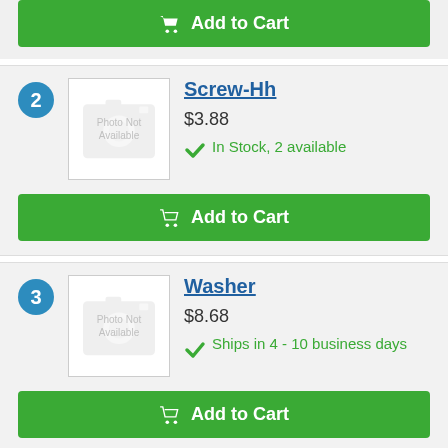[Figure (other): Green Add to Cart button at top of page]
2 Screw-Hh $3.88 In Stock, 2 available
[Figure (photo): Photo Not Available placeholder image for Screw-Hh]
[Figure (other): Green Add to Cart button for Screw-Hh]
3 Washer $8.68 Ships in 4 - 10 business days
[Figure (photo): Photo Not Available placeholder image for Washer]
[Figure (other): Green Add to Cart button for Washer]
4 (partial, name cut off)